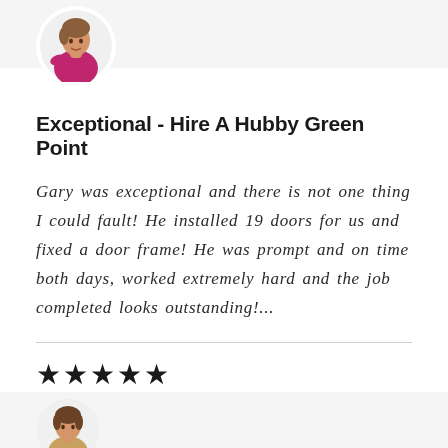[Figure (illustration): Avatar illustration of a person wearing a magenta/pink top, shown in a circular white frame against a light gray background header]
Exceptional - Hire A Hubby Green Point
Gary was exceptional and there is not one thing I could fault! He installed 19 doors for us and fixed a door frame! He was prompt and on time both days, worked extremely hard and the job completed looks outstanding!...
★★★★★
[Figure (illustration): Partial avatar illustration of a person at the bottom of the page, shown in a circular white frame against a light gray background]